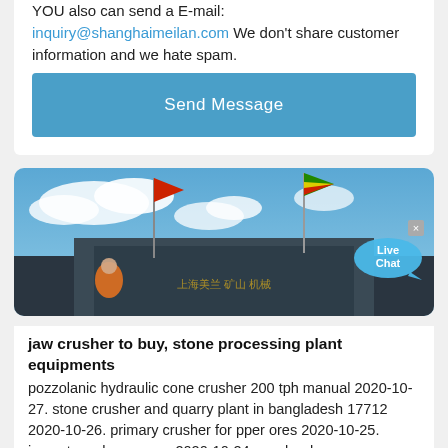YOU also can send a E-mail: inquiry@shanghaimeilan.com We don't share customer information and we hate spam.
Send Message
[Figure (photo): Heavy construction/mining equipment with flags on top, photographed against a blue cloudy sky. A red flag is visible on the left and a green/yellow/red flag on the right. Orange-clad workers visible at the base.]
jaw crusher to buy, stone processing plant equipments
pozzolanic hydraulic cone crusher 200 tph manual 2020-10-27. stone crusher and quarry plant in bangladesh 17712 2020-10-26. primary crusher for pper ores 2020-10-25. impact crusher energy 2020-10-24. crusher hammer quartzite 2020-10-22. olx stone crusher rajasthan 2020-10-21. grinding sharpening crusher 2020-10-20
cement grinding italycement grinding jobs
Skid Steer Concrete Crushers The Skid Steer Concrete Crusher is a heavy duty attachment, ideal for concrete recycle